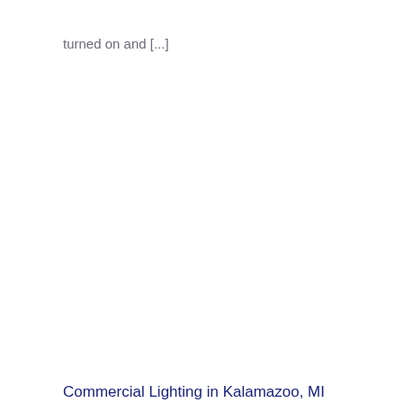turned on and [...]
Commercial Lighting in Kalamazoo, MI